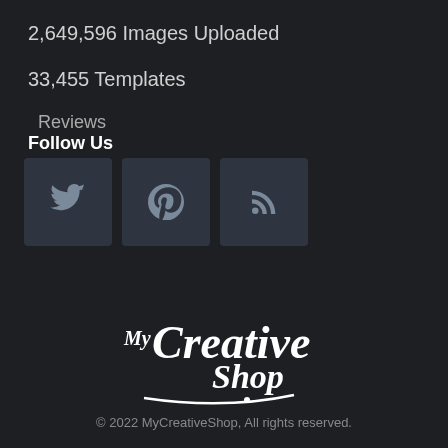2,649,596 Images Uploaded
33,455 Templates
Reviews
Follow Us
[Figure (other): Three social media icon buttons: Twitter, Pinterest, RSS feed on dark background]
[Figure (logo): MyCreativeShop logo in white script lettering on dark background]
© 2022 MyCreativeShop, All rights reserved.